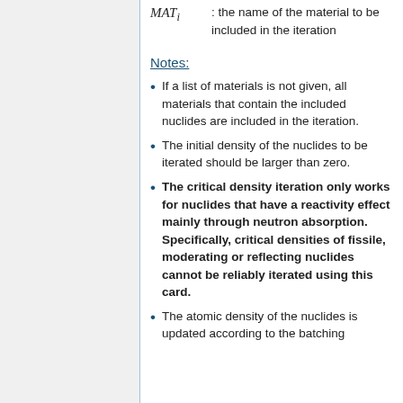Notes:
If a list of materials is not given, all materials that contain the included nuclides are included in the iteration.
The initial density of the nuclides to be iterated should be larger than zero.
The critical density iteration only works for nuclides that have a reactivity effect mainly through neutron absorption. Specifically, critical densities of fissile, moderating or reflecting nuclides cannot be reliably iterated using this card.
The atomic density of the nuclides is updated according to the batching